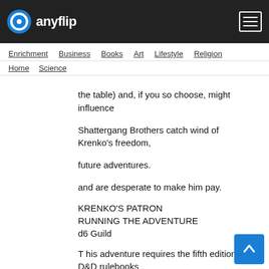anyflip
Enrichment  Business  Books  Art  Lifestyle  Religion
Home  Science
the table) and, if you so choose, might influence Shattergang Brothers catch wind of Krenko's freedom, future adventures. and are desperate to make him pay.
KRENKO'S PATRON
RUNNING THE ADVENTURE
d6 Guild
T his adventure requires the fifth edition D&D rulebooks Dimir. An impenetrable fog appeared, confusing the (Player's Handbook, Dungeon Master's Guide, and escort and obscuring their view. Krenko slipped his Monster Manual). You should read the entire adventure restraints and scurried off in the mist. before attempting to run it. If you'd prefer to play, you shouldn't read any farther. 2 Golgari. A swarm of centipedes burst out of a nearby